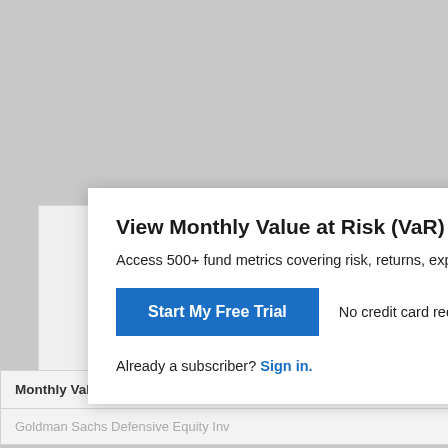View Monthly Value at Risk (VaR) 5% (All) for JE...
Access 500+ fund metrics covering risk, returns, exposu...
Start My Free Trial   No credit card required.
Already a subscriber? Sign in.
Monthly Value at Risk (VaR) 5% (All) Benchmarks
Goldman Sachs Defensive Equity Inv